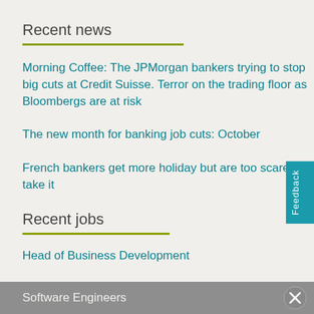Recent news
Morning Coffee: The JPMorgan bankers trying to stop big cuts at Credit Suisse. Terror on the trading floor as Bloombergs are at risk
The new month for banking job cuts: October
French bankers get more holiday but are too scared to take it
Recent jobs
Head of Business Development
Linux/Windows Systems Engineer - Core Infrastructure, TriOptima
Software Engineers